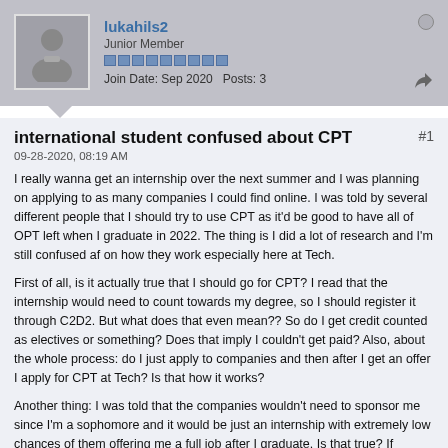[Figure (illustration): Forum user profile header with avatar (gray silhouette), username lukahils2, rank Junior Member, reputation pips, join date Sep 2020, posts 3, online indicator, and share icon]
international student confused about CPT
09-28-2020, 08:19 AM
I really wanna get an internship over the next summer and I was planning on applying to as many companies I could find online. I was told by several different people that I should try to use CPT as it'd be good to have all of OPT left when I graduate in 2022. The thing is I did a lot of research and I'm still confused af on how they work especially here at Tech.
First of all, is it actually true that I should go for CPT? I read that the internship would need to count towards my degree, so I should register it through C2D2. But what does that even mean?? So do I get credit counted as electives or something? Does that imply I couldn't get paid? Also, about the whole process: do I just apply to companies and then after I get an offer I apply for CPT at Tech? Is that how it works?
Another thing: I was told that the companies wouldn't need to sponsor me since I'm a sophomore and it would be just an internship with extremely low chances of them offering me a full job after I graduate. Is that true? If anyone can answer any of the questions that'd be great!